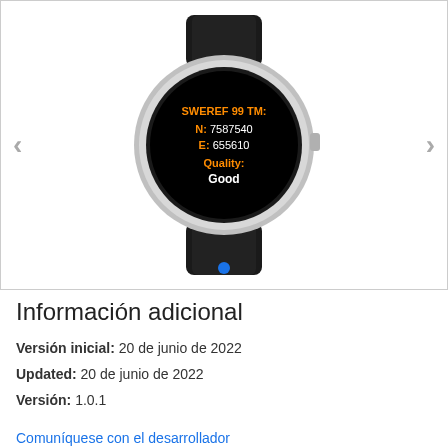[Figure (screenshot): A Garmin smartwatch with a black strap and silver bezel displaying SWEREF 99 TM coordinates on its black circular screen. Screen shows: SWEREF 99 TM: N: 7587540, E: 655610, Quality: Good (in orange and white text). Navigation arrows on left and right sides of the carousel. Blue dot indicator at the bottom.]
Información adicional
Versión inicial: 20 de junio de 2022
Updated: 20 de junio de 2022
Versión: 1.0.1
Comuníquese con el desarrollador